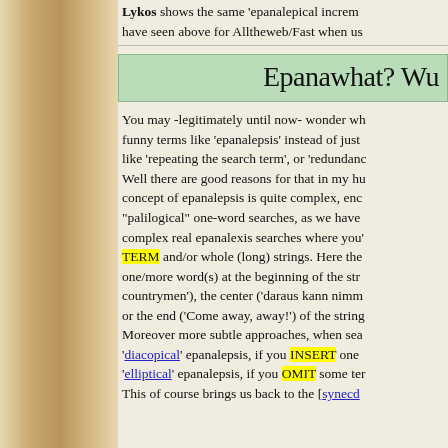Lykos shows the same 'epanalepical increment' have seen above for Alltheweb/Fast when us
Epanawhat? Wu
You may -legitimately until now- wonder wh funny terms like 'epanalepsis' instead of just like 'repeating the search term', or 'redundanc Well there are good reasons for that in my hu concept of epanalepsis is quite complex, enc "palilogical" one-word searches, as we have complex real epanalexis searches where you' TERM and/or whole (long) strings. Here the one/more word(s) at the beginning of the str countrymen'), the center ('daraus kann nimm or the end ('Come away, away!') of the string Moreover more subtle approaches, when sea 'diacopical' epanalepsis, if you INSERT one 'elliptical' epanalepsis, if you OMIT some ter This of course brings us back to the [synecd